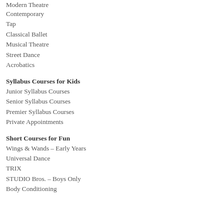Modern Theatre
Contemporary
Tap
Classical Ballet
Musical Theatre
Street Dance
Acrobatics
Syllabus Courses for Kids
Junior Syllabus Courses
Senior Syllabus Courses
Premier Syllabus Courses
Private Appointments
Short Courses for Fun
Wings & Wands – Early Years
Universal Dance
TRIX
STUDIO Bros. – Boys Only
Body Conditioning